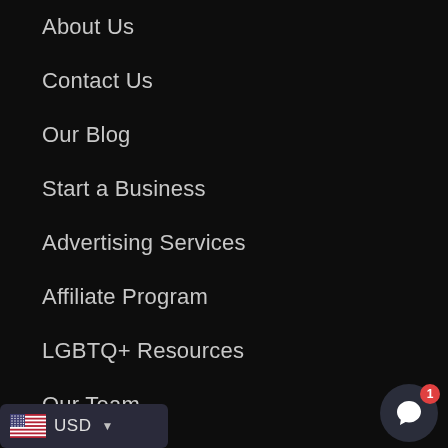About Us
Contact Us
Our Blog
Start a Business
Advertising Services
Affiliate Program
LGBTQ+ Resources
Our Team
Careers
USD
[Figure (illustration): Chat bubble icon with notification badge showing '1']